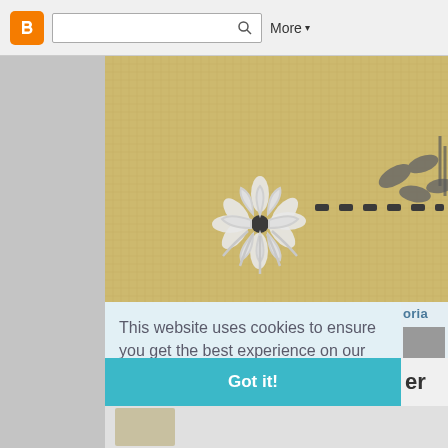[Figure (screenshot): Browser navigation bar with Blogger orange icon, search input box with magnifying glass icon, and 'More ▾' dropdown button on a light gray background]
[Figure (photo): Close-up photograph of hand embroidery on burlap/canvas fabric showing white lazy daisy flower stitches and dark running stitches with leaf shapes on a golden/tan woven background]
This website uses cookies to ensure you get the best experience on our website.
Learn more
Got it!